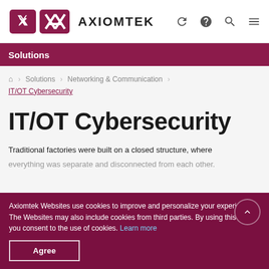AXIOMTEK
Solutions
Home > Solutions > Networking & Communication > IT/OT Cybersecurity
IT/OT Cybersecurity
Traditional factories were built on a closed structure, where everything was separate and disconnected from each other...
Axiomtek Websites use cookies to improve and personalize your experience. The Websites may also include cookies from third parties. By using this site, you consent to the use of cookies. Learn more
Agree